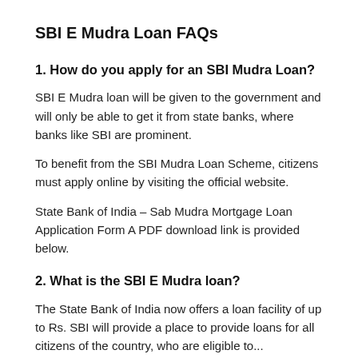SBI E Mudra Loan FAQs
1. How do you apply for an SBI Mudra Loan?
SBI E Mudra loan will be given to the government and will only be able to get it from state banks, where banks like SBI are prominent.
To benefit from the SBI Mudra Loan Scheme, citizens must apply online by visiting the official website.
State Bank of India – Sab Mudra Mortgage Loan Application Form A PDF download link is provided below.
2. What is the SBI E Mudra loan?
The State Bank of India now offers a loan facility of up to Rs. SBI will provide a place to provide loans for all citizens of the country, who are eligible to...